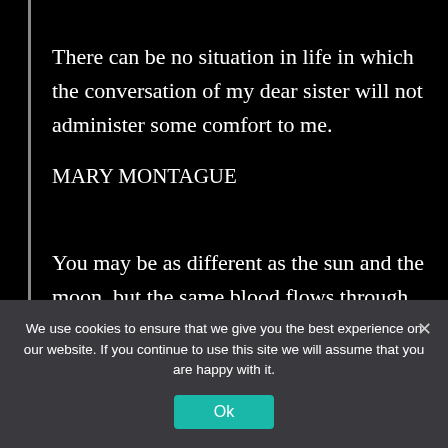There can be no situation in life in which the conversation of my dear sister will not administer some comfort to me.
MARY MONTAGUE
You may be as different as the sun and the moon, but the same blood flows through
We use cookies to ensure that we give you the best experience on our website. If you continue to use this site we will assume that you are happy with it.